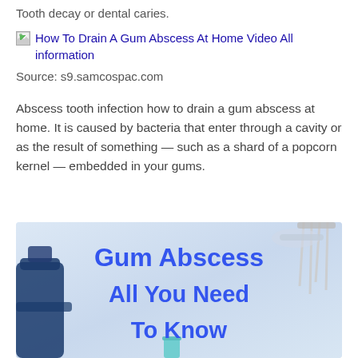Tooth decay or dental caries.
[Figure (other): Broken image placeholder with alt text: How To Drain A Gum Abscess At Home Video All information]
Source: s9.samcospac.com
Abscess tooth infection how to drain a gum abscess at home. It is caused by bacteria that enter through a cavity or as the result of something — such as a shard of a popcorn kernel — embedded in your gums.
[Figure (photo): Dental clinic background image with large blue bold text reading 'Gum Abscess All You Need To Know']